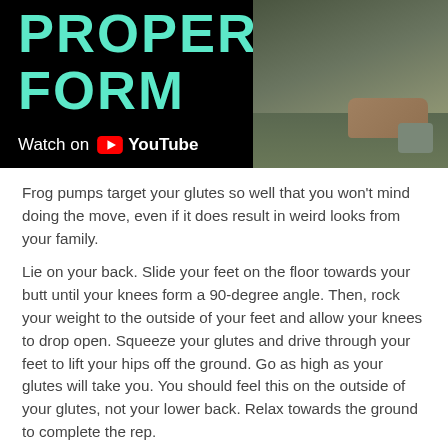[Figure (screenshot): YouTube video thumbnail showing 'PROPER FORM' title in teal text on black background, with Watch on YouTube button, and a photo of someone on an exercise mat on the right side]
Frog pumps target your glutes so well that you won’t mind doing the move, even if it does result in weird looks from your family.
Lie on your back. Slide your feet on the floor towards your butt until your knees form a 90-degree angle. Then, rock your weight to the outside of your feet and allow your knees to drop open. Squeeze your glutes and drive through your feet to lift your hips off the ground. Go as high as your glutes will take you. You should feel this on the outside of your glutes, not your lower back. Relax towards the ground to complete the rep.
Hip Thrust
[Figure (screenshot): YouTube video thumbnail for 'Hip Thrust | Born Fitness' showing a person in a gym setting]